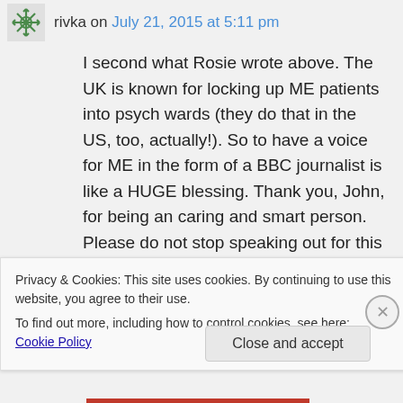rivka on July 21, 2015 at 5:11 pm
I second what Rosie wrote above. The UK is known for locking up ME patients into psych wards (they do that in the US, too, actually!). So to have a voice for ME in the form of a BBC journalist is like a HUGE blessing. Thank you, John, for being an caring and smart person. Please do not stop speaking out for this community. All of us had lives and careers too, like you,
Privacy & Cookies: This site uses cookies. By continuing to use this website, you agree to their use.
To find out more, including how to control cookies, see here: Cookie Policy
Close and accept